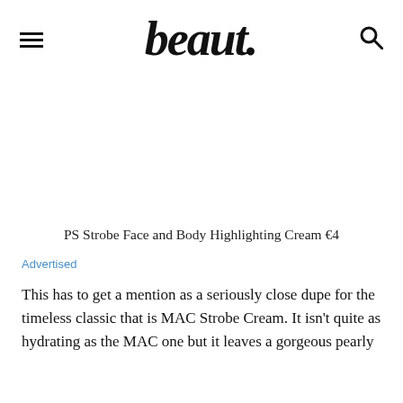beaut.
PS Strobe Face and Body Highlighting Cream €4
Advertised
This has to get a mention as a seriously close dupe for the timeless classic that is MAC Strobe Cream. It isn't quite as hydrating as the MAC one but it leaves a gorgeous pearly